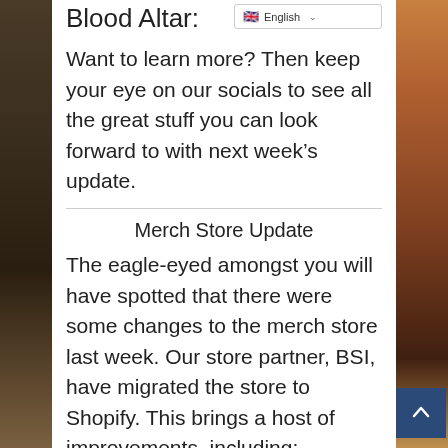Blood Altar:
[Figure (screenshot): Language selector dropdown showing UK flag and 'English' text with chevron]
Want to learn more? Then keep your eye on our socials to see all the great stuff you can look forward to with next week’s update.
Merch Store Update
The eagle-eyed amongst you will have spotted that there were some changes to the merch store last week. Our store partner, BSI, have migrated the store to Shopify. This brings a host of improvements, including: